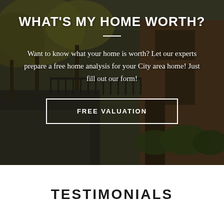[Figure (photo): Dark-toned photograph of a tree-lined city street with brownstone townhouses, iron fencing, and parked cars. Used as background for a real estate home valuation promotional section.]
WHAT'S MY HOME WORTH?
Want to know what your home is worth? Let our experts prepare a free home analysis for your City area home! Just fill out our form!
FREE VALUATION
TESTIMONIALS